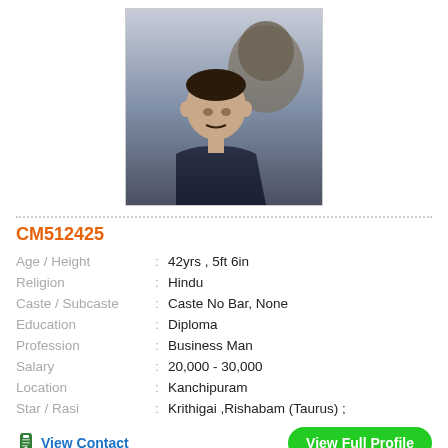[Figure (photo): Profile photo of a man in a dark shirt, with a large stone lion statue in the background]
CM512425
| Field |  | Value |
| --- | --- | --- |
| Age / Height | : | 42yrs , 5ft 6in |
| Religion | : | Hindu |
| Caste / Subcaste | : | Caste No Bar, None |
| Education | : | Diploma |
| Profession | : | Business Man |
| Salary | : | 20,000 - 30,000 |
| Location | : | Kanchipuram |
| Star / Rasi | : | Krithigai ,Rishabam (Taurus) ; |
View Contact
View Full Profile